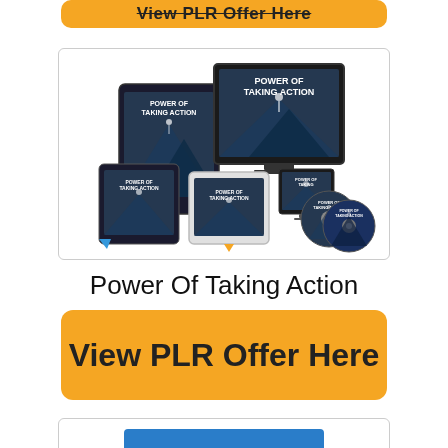[Figure (illustration): Partially visible orange button at top, cropped, with strikethrough text 'View PLR Offer Here']
[Figure (illustration): Product mockup for 'Power Of Taking Action' showing multiple device screens (tablets, monitor, iPad, CDs) with the product cover displayed on each device, dark mountain/person silhouette cover image]
Power Of Taking Action
[Figure (illustration): Orange rounded rectangle button with bold text 'View PLR Offer Here']
[Figure (illustration): Partially visible product image box at bottom with blue tablet device cropped]